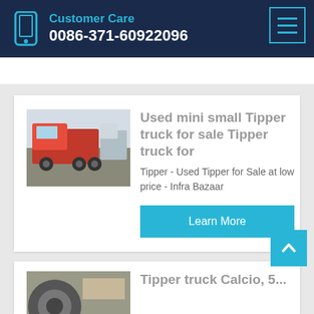Customer Care
0086-371-60922096
[Figure (photo): Red tipper/dump truck parked in a yard with other trucks]
Used mini small Tipper truck for sale Tipper truck for
Tipper - Used Tipper for Sale at low price - Infra Bazaar
Learn More
[Figure (photo): Partial image of a tipper truck at the bottom of the page]
Tipper truck Calcio, 5...